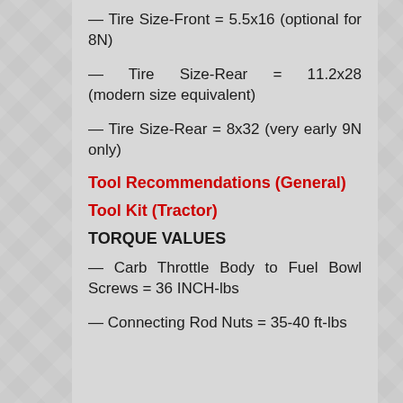— Tire Size-Front = 5.5x16 (optional for 8N)
— Tire Size-Rear = 11.2x28 (modern size equivalent)
— Tire Size-Rear = 8x32 (very early 9N only)
Tool Recommendations (General)
Tool Kit (Tractor)
TORQUE VALUES
— Carb Throttle Body to Fuel Bowl Screws = 36 INCH-lbs
— Connecting Rod Nuts = 35-40 ft-lbs